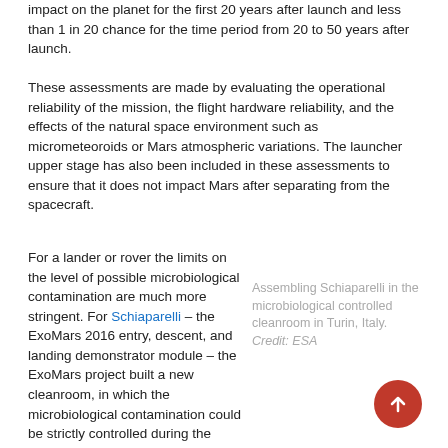impact on the planet for the first 20 years after launch and less than 1 in 20 chance for the time period from 20 to 50 years after launch.
These assessments are made by evaluating the operational reliability of the mission, the flight hardware reliability, and the effects of the natural space environment such as micrometeoroids or Mars atmospheric variations. The launcher upper stage has also been included in these assessments to ensure that it does not impact Mars after separating from the spacecraft.
For a lander or rover the limits on the level of possible microbiological contamination are much more stringent. For Schiaparelli – the ExoMars 2016 entry, descent, and landing demonstrator module – the ExoMars project built a new cleanroom, in which the microbiological contamination could be strictly controlled during the assembly of the module at Thales Alenia Space in Italy.
Assembling Schiaparelli in the microbiological controlled cleanroom in Turin, Italy. Credit: ESA
When the module was assembled, it was transferred to the Thales Alenia Space premises at Cannes, France, for testing. A portable 'clean tent' that could be used during these activities was set up in Cannes and later, when Schiaparelli was transferred to the launch site in Baikonur, the clean tent was transferred there too. In addition, the project has built two new microbiological